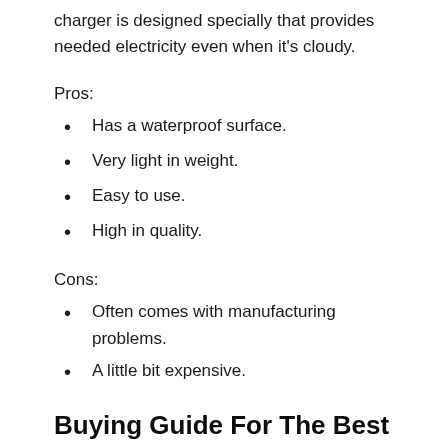charger is designed specially that provides needed electricity even when it's cloudy.
Pros:
Has a waterproof surface.
Very light in weight.
Easy to use.
High in quality.
Cons:
Often comes with manufacturing problems.
A little bit expensive.
Buying Guide For The Best Solar Charger For Backpacking
For travelers and adventure seekers, chargers are one